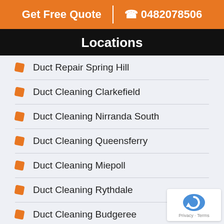Get Free Quote | 0482078506
Locations
Duct Repair Spring Hill
Duct Cleaning Clarkefield
Duct Cleaning Nirranda South
Duct Cleaning Queensferry
Duct Cleaning Miepoll
Duct Cleaning Rythdale
Duct Cleaning Budgeree
Duct Cleaning Korobeit